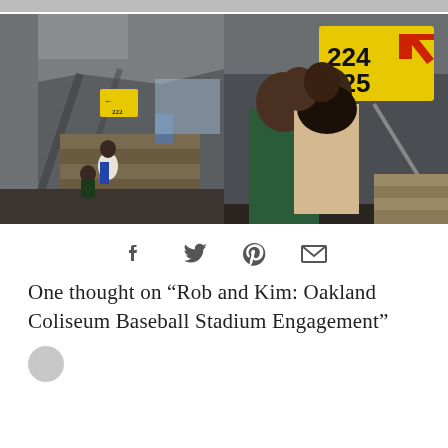[Figure (photo): Two side-by-side photos of a couple at Oakland Coliseum baseball stadium. Left photo shows a couple standing near concrete stairs under the stadium with a yellow directional sign in the background. Right photo shows a close-up of the couple nearly kissing near a yellow '224/225' section sign on a concrete wall.]
[Figure (infographic): Social sharing icons: Facebook, Twitter, Pinterest, Email]
One thought on “Rob and Kim: Oakland Coliseum Baseball Stadium Engagement”